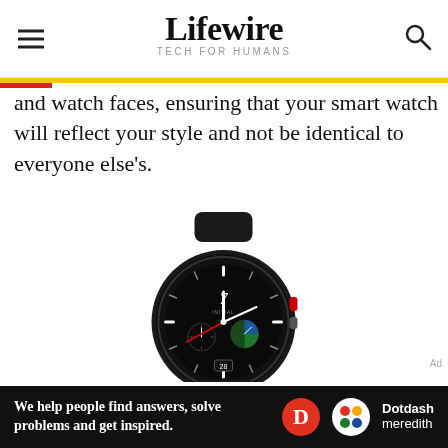Lifewire TECH FOR HUMANS
and watch faces, ensuring that your smart watch will reflect your style and not be identical to everyone else's.
[Figure (photo): Samsung Galaxy Watch 4 Classic in black with a chronograph-style watch face showing the number 7 and 'INITIAL' text, black rubber band.]
We help people find answers, solve problems and get inspired. Dotdash meredith